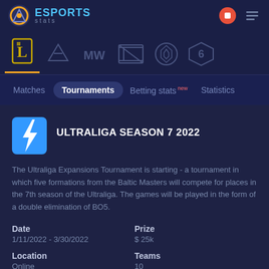ESPORTS stats
[Figure (logo): Esports Stats logo with circular icon and text]
[Figure (infographic): Game icon navigation row: League of Legends (active, highlighted in gold), Valorant, Call of Duty Modern Warfare, Dota 2, CS:GO, Rainbow Six Siege]
Matches | Tournaments (active) | Betting stats new | Statistics
ULTRALIGA SEASON 7 2022
The Ultraliga Expansions Tournament is starting - a tournament in which five formations from the Baltic Masters will compete for places in the 7th season of the Ultraliga. The games will be played in the form of a double elimination of BO5.
| Date | Prize | Location | Teams |
| --- | --- | --- | --- |
| 1/11/2022 - 3/30/2022 | $ 25k | Online | 10 |